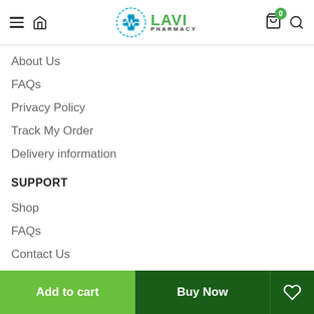LAVI PHARMACY - navigation header with hamburger menu, home icon, logo, cart (0), and search
About Us
FAQs
Privacy Policy
Track My Order
Delivery information
SUPPORT
Shop
FAQs
Contact Us
Returns & Exchange
Add to cart | Buy Now | Wishlist